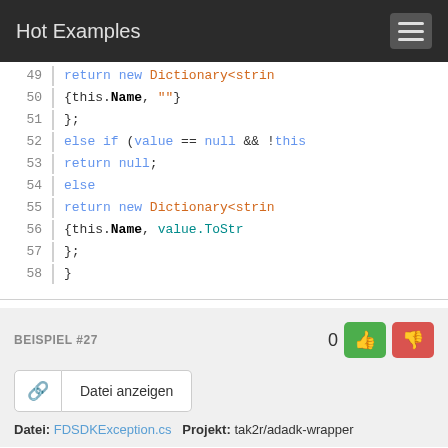Hot Examples
[Figure (screenshot): Code snippet showing C# code lines 49-58 with syntax highlighting. Lines include: return new Dictionary<strin, {this.Name, ""}, };, else if (value == null && !this, return null;, else, return new Dictionary<strin, {this.Name, value.ToStr, };, }]
BEISPIEL #27
0
Datei anzeigen
Datei: FDSDKException.cs   Projekt: tak2r/adadk-wrapper